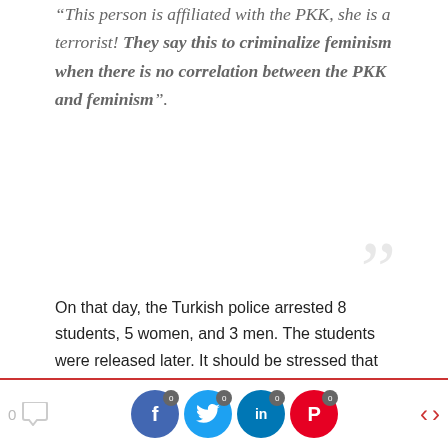“This person is affiliated with the PKK, she is a terrorist! They say this to criminalize feminism when there is no correlation between the PKK and feminism”.
On that day, the Turkish police arrested 8 students, 5 women, and 3 men. The students were released later. It should be stressed that The KYK (Kredi ve Yurtlar Kurumu) scholarship of the students participating in the demonstration at the Ankara Cebeci Campus was revoked.
University Politics: A Mirror Reflecting Government
0 [comment] [Facebook 0] [Twitter 0] [LinkedIn 0] [Pinterest 0] [‹] [›]